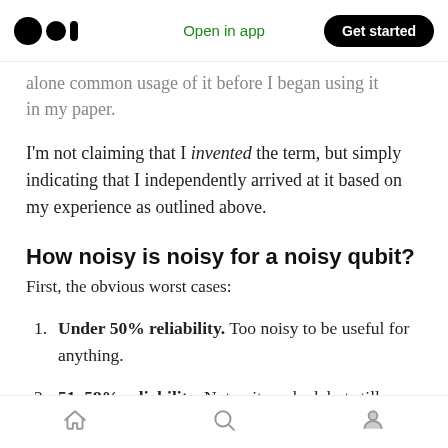Medium logo | Open in app | Get started
alone common usage of it before I began using it in my paper.
I'm not claiming that I invented the term, but simply indicating that I independently arrived at it based on my experience as outlined above.
How noisy is noisy for a noisy qubit?
First, the obvious worst cases:
Under 50% reliability. Too noisy to be useful for anything.
51–59% reliability. Not quite as bad, but still
Home | Search | Profile